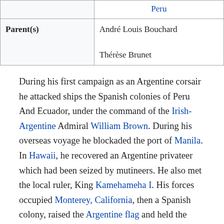|  |  |
| --- | --- |
|  | Peru |
| Parent(s) | André Louis Bouchard

Thérèse Brunet |
During his first campaign as an Argentine corsair he attacked ships the Spanish colonies of Peru And Ecuador, under the command of the Irish-Argentine Admiral William Brown. During his overseas voyage he blockaded the port of Manila. In Hawaii, he recovered an Argentine privateer which had been seized by mutineers. He also met the local ruler, King Kamehameha I. His forces occupied Monterey, California, then a Spanish colony, raised the Argentine flag and held the town for six days. After raiding Monterey, he plundered Mission San Juan Capistrano in Southern California. Toward the end of the voyage Bouchard raided Spanish ports in Central America.[4] His